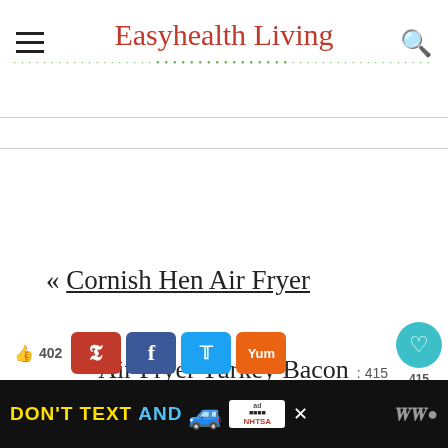Easyhealth Living
« Cornish Hen Air Fryer
Air Fryer Turkey Bacon : 415
WHAT'S NEXT → 10 Best Diabetes...
402
[Figure (other): Social sharing buttons: Pinterest, Facebook, Twitter, Yummly]
[Figure (other): Ad banner: DON'T TEXT AND (car emoji) NHTSA advertisement]